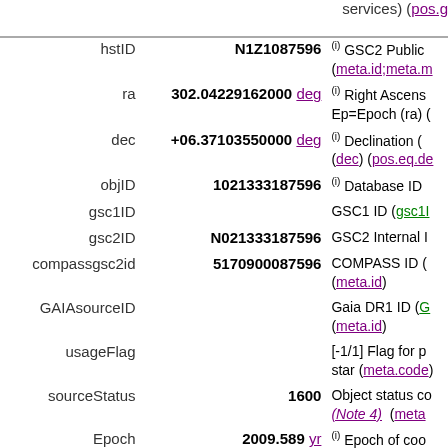services) (pos.g...
| Field | Value | Description |
| --- | --- | --- |
| hstID | N1Z1087596 | (i) GSC2 Public (meta.id;meta.m... |
| ra | 302.04229162000 deg | (i) Right Ascens... Ep=Epoch (ra) (... |
| dec | +06.37103550000 deg | (i) Declination (... (dec) (pos.eq.de... |
| objID | 1021333187596 | (i) Database ID ... |
| gsc1ID |  | GSC1 ID (gsc1I... |
| gsc2ID | N021333187596 | GSC2 Internal I... |
| compassgsc2id | 5170900087596 | COMPASS ID (... (meta.id) |
| GAIAsourceID |  | Gaia DR1 ID (G... (meta.id) |
| usageFlag |  | [-1/1] Flag for p... star (meta.code)... |
| sourceStatus | 1600 | Object status co... (Note 4) (meta... |
| Epoch | 2009.589 yr | (i) Epoch of coo... |
| raErr | 0.1872400 arcsec | Right Ascension... |